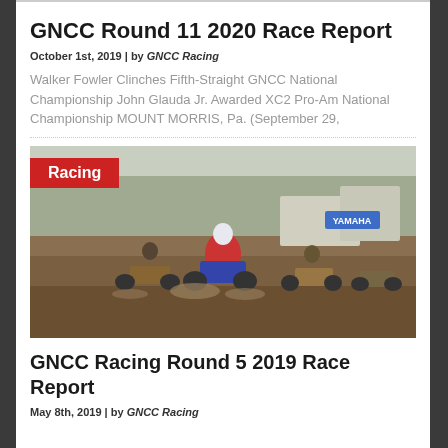GNCC Round 11 2020 Race Report
October 1st, 2019 | by GNCC Racing
Walker Fowler Clinches Fifth-Straight GNCC National Championship John Glauda Jr. Awarded XC2 Pro-Am National Championship MOUNT MORRIS, Pa. (September 29,
[Figure (photo): ATV riders racing through muddy terrain at a GNCC off-road race, with a red 'Racing' badge overlay in the top-left corner]
GNCC Racing Round 5 2019 Race Report
May 8th, 2019 | by GNCC Racing